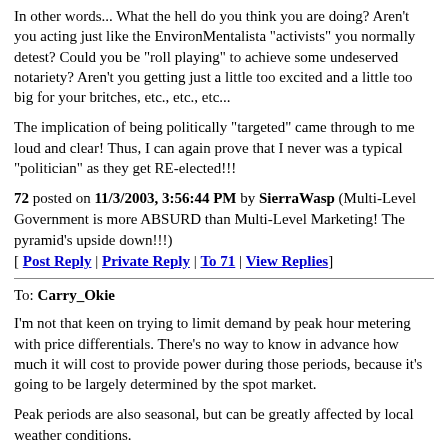In other words... What the hell do you think you are doing? Aren't you acting just like the EnvironMentalista "activists" you normally detest? Could you be "roll playing" to achieve some undeserved notariety? Aren't you getting just a little too excited and a little too big for your britches, etc., etc., etc...
The implication of being politically "targeted" came through to me loud and clear! Thus, I can again prove that I never was a typical "politician" as they get RE-elected!!!
72 posted on 11/3/2003, 3:56:44 PM by SierraWasp (Multi-Level Government is more ABSURD than Multi-Level Marketing! The pyramid's upside down!!!)
[ Post Reply | Private Reply | To 71 | View Replies]
To: Carry_Okie
I'm not that keen on trying to limit demand by peak hour metering with price differentials. There's no way to know in advance how much it will cost to provide power during those periods, because it's going to be largely determined by the spot market.
Peak periods are also seasonal, but can be greatly affected by local weather conditions.
Unless we move to a system where electricity is priced in real-time dollars, which would be enormously difficult to do, about the only